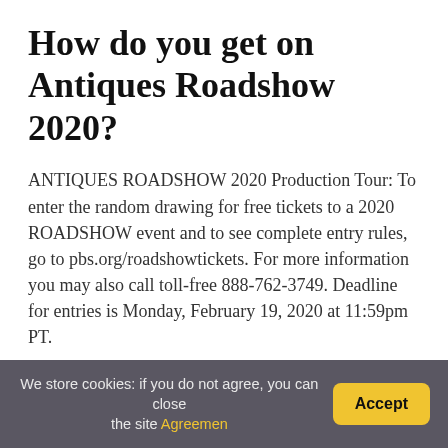How do you get on Antiques Roadshow 2020?
ANTIQUES ROADSHOW 2020 Production Tour: To enter the random drawing for free tickets to a 2020 ROADSHOW event and to see complete entry rules, go to pbs.org/roadshowtickets. For more information you may also call toll-free 888-762-3749. Deadline for entries is Monday, February 19, 2020 at 11:59pm PT.
How do I get an Antiques Roadshow appraisal?
Search on their websites for “ valuation day” or “ appraisal
We store cookies: if you do not agree, you can close the site Agreemen